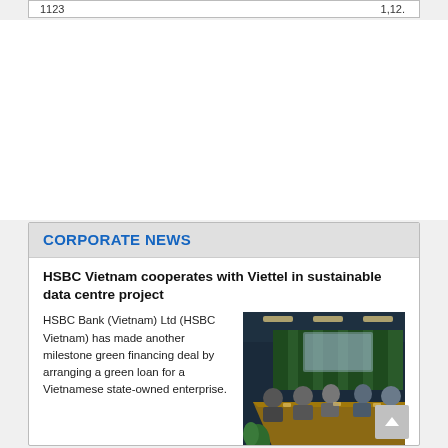|  |  |
| --- | --- |
| 1123 | 1,12. |
CORPORATE NEWS
HSBC Vietnam cooperates with Viettel in sustainable data centre project
HSBC Bank (Vietnam) Ltd (HSBC Vietnam) has made another milestone green financing deal by arranging a green loan for a Vietnamese state-owned enterprise.
[Figure (photo): Conference room with people seated around a long table, green curtains in background]
Trungnam Group hands over Ky Son High School in Nghe An